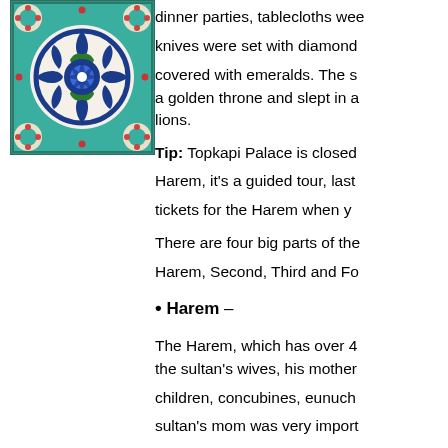[Figure (illustration): Decorative Iznik tile with floral pattern in blue, green, and white on turquoise border]
dinner parties, tablecloths were... knives were set with diamonds... covered with emeralds. The su... a golden throne and slept in a... lions.
Tip: Topkapi Palace is closed... Harem, it's a guided tour, lasts... tickets for the Harem when yo...
There are four big parts of the... Harem, Second, Third and Fo...
Harem –
The Harem, which has over 40... the sultan's wives, his mother... children, concubines, eunuchs... sultan's mom was very importa... beautifully decorated. The Har... the Imperial Hall for entertainm... bedchambers, baths, and priva...